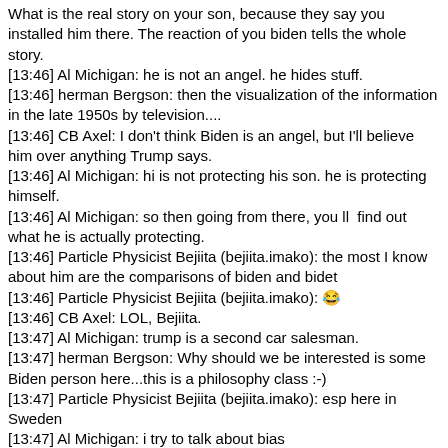What is the real story on your son, because they say you installed him there. The reaction of you biden tells the whole story.
[13:46] Al Michigan: he is not an angel. he hides stuff.
[13:46] herman Bergson: then the visualization of the information in the late 1950s by television....
[13:46] CB Axel: I don't think Biden is an angel, but I'll believe him over anything Trump says.
[13:46] Al Michigan: hi is not protecting his son. he is protecting himself.
[13:46] Al Michigan: so then going from there, you ll  find out what he is actually protecting.
[13:46] Particle Physicist Bejiita (bejiita.imako): the most I know about him are the comparisons of biden and bidet
[13:46] Particle Physicist Bejiita (bejiita.imako): 😂
[13:46] CB Axel: LOL, Bejiita.
[13:47] Al Michigan: trump is a second car salesman.
[13:47] herman Bergson: Why should we be interested is some Biden person here...this is a philosophy class :-)
[13:47] Particle Physicist Bejiita (bejiita.imako): esp here in Sweden
[13:47] Al Michigan: i try to talk about bias
[13:47] Al Michigan: in the convo here.
[13:47] Particle Physicist Bejiita (bejiita.imako): Joe Biden / Jo, biden! (Yes the bidet!)
[13:47] herman Bergson: What philosophical bias do you